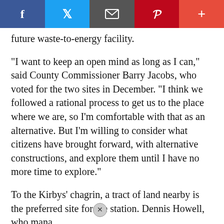Social share bar: Facebook, Twitter, Email, Pinterest, Plus
future waste-to-energy facility.
"I want to keep an open mind as long as I can," said County Commissioner Barry Jacobs, who voted for the two sites in December. "I think we followed a rational process to get us to the place where we are, so I'm comfortable with that as an alternative. But I'm willing to consider what citizens have brought forward, with alternative constructions, and explore them until I have no more time to explore."
To the Kirbys' chagrin, a tract of land nearby is the preferred site for the station. Dennis Howell, who manages West 54 LLC, owns the heavily wooded parcel, [obscured by image] wetlan[ds] [obscured] n times t[hat] [obscured] sfer station[s]
[Figure (photo): Photo of a person face-painting a child, partially overlaying the article text. A close button (x) appears at the top left of the overlay image.]